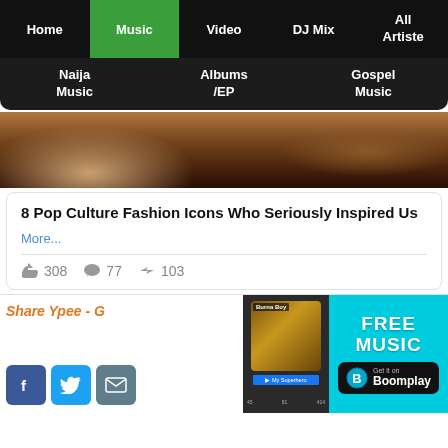Home | Music | Video | DJ Mix | All Artiste
Naija Music | Albums /EP | Gospel Music
[Figure (photo): Cropped photo of a person wearing a sparkly/glittery outfit, dark tones]
8 Pop Culture Fashion Icons Who Seriously Inspired Us
More...
308  77  103
Share Ypee - G
[Figure (advertisement): FREE MUSIC - Get it on Boomplay advertisement banner with Burna Boy phone screenshot]